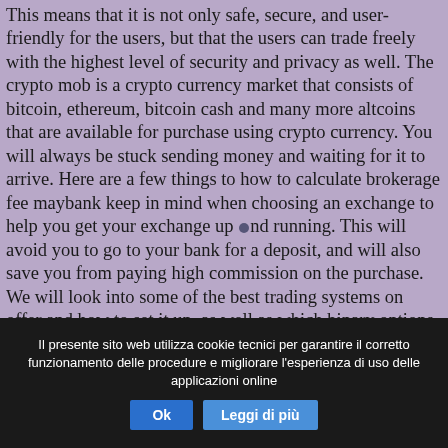This means that it is not only safe, secure, and user-friendly for the users, but that the users can trade freely with the highest level of security and privacy as well. The crypto mob is a crypto currency market that consists of bitcoin, ethereum, bitcoin cash and many more altcoins that are available for purchase using crypto currency. You will always be stuck sending money and waiting for it to arrive. Here are a few things to how to calculate brokerage fee maybank keep in mind when choosing an exchange to help you get your exchange up and running. This will avoid you to go to your bank for a deposit, and will also save you from paying high commission on the purchase. We will look into some of the best trading systems on offer and how to set it up, as well as which binary options trading strategies will be the best. I have not done this yet, but i did see that in the last option the option is called 'invest in webulls and you get a free $2.50' so it's a free
Il presente sito web utilizza cookie tecnici per garantire il corretto funzionamento delle procedure e migliorare l'esperienza di uso delle applicazioni online